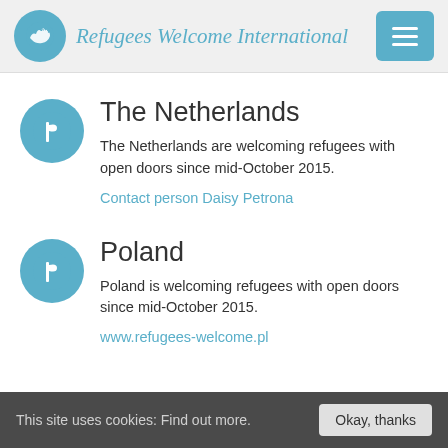Refugees Welcome International
The Netherlands
The Netherlands are welcoming refugees with open doors since mid-October 2015.
Contact person Daisy Petrona
Poland
Poland is welcoming refugees with open doors since mid-October 2015.
www.refugees-welcome.pl
This site uses cookies: Find out more. Okay, thanks